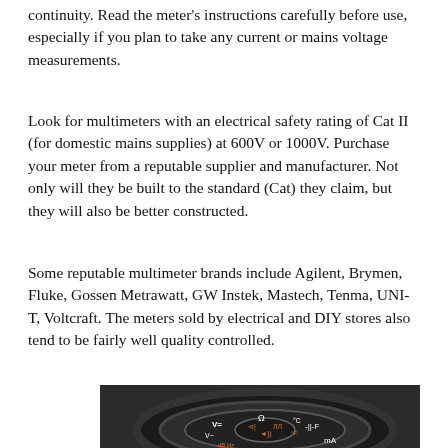continuity. Read the meter's instructions carefully before use, especially if you plan to take any current or mains voltage measurements.
Look for multimeters with an electrical safety rating of Cat II (for domestic mains supplies) at 600V or 1000V. Purchase your meter from a reputable supplier and manufacturer. Not only will they be built to the standard (Cat) they claim, but they will also be better constructed.
Some reputable multimeter brands include Agilent, Brymen, Fluke, Gossen Metrawatt, GW Instek, Mastech, Tenma, UNI-T, Voltcraft. The meters sold by electrical and DIY stores also tend to be fairly well quality controlled.
[Figure (photo): Close-up photograph of a multimeter's rotary dial/selector switch showing measurement settings including V=, V~, Ω, dB, Hz, temperature (°C, °F), frequency (Hz), capacitance (F), and current (mA) markings on a dark grey/black textured background.]